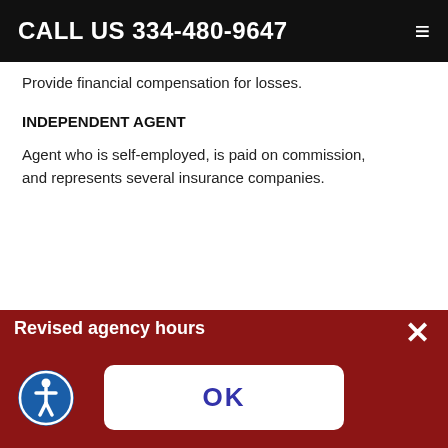CALL US 334-480-9647
Provide financial compensation for losses.
INDEPENDENT AGENT
Agent who is self-employed, is paid on commission, and represents several insurance companies.
Revised agency hours
Until further notice our hours of operation will be 10am-2pm(EST) Monday thru Friday. We apologize for the inconvenience and ask that if you are not able to call or come by the agency during these hours, we will be happy to make an appointment to meet with you at a more convenient time. Just leave a message on our voicemail and we will call you back to arrange an appointment. We appreciate your business!